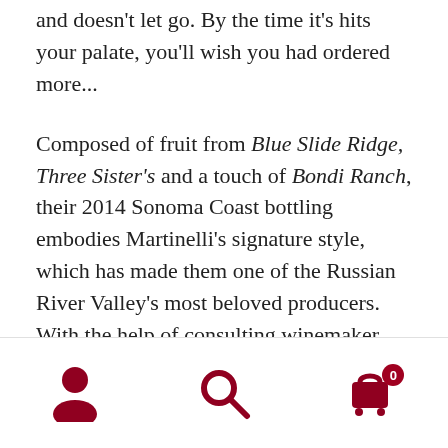and doesn't let go.  By the time it's hits your palate, you'll wish you had ordered more...
Composed of fruit from Blue Slide Ridge, Three Sister's and a touch of Bondi Ranch, their 2014 Sonoma Coast bottling embodies Martinelli's signature style, which has made them one of the Russian River Valley's most beloved producers.  With the help of consulting winemaker Erin Green, whom worked alongside Helen Turley in the early '90's on some of her projects, the winery has remained a paragon of the Russian River Valley.  If you love BIG, rich, California Pinot Noirs, you'll want to secure a case of this one, yesterday.
Ground Shipping Included on ANY Mixed 15 bottle
[Figure (infographic): Bottom navigation bar with three icons: user/person icon (left), search/magnifying glass icon (center), shopping cart icon with badge showing 0 (right), all in dark red/crimson color]